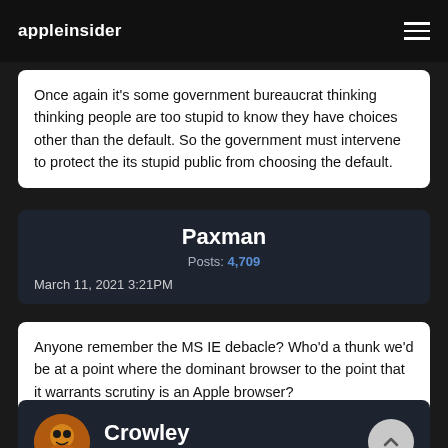appleinsider
Once again it's some government bureaucrat thinking thinking people are too stupid to know they have choices other than the default. So the government must intervene to protect the its stupid public from choosing the default.
Paxman
Posts: 4,709
March 11, 2021 3:21PM
Anyone remember the MS IE debacle? Who'd a thunk we'd be at a point where the dominant browser to the point that it warrants scrutiny is an Apple browser?
Crowley
Posts: 10,286